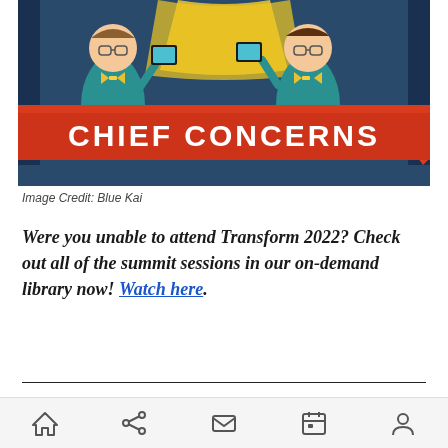[Figure (illustration): Colorful infographic illustration showing cartoon business figures holding devices, with a large red ribbon banner reading 'CHIEF CONCERNS' in white bold text on a dark navy blue background.]
Image Credit: Blue Kai
Were you unable to attend Transform 2022? Check out all of the summit sessions in our on-demand library now! Watch here.
[Figure (illustration): Bottom portion of an infographic showing a cartoon man with glasses holding a pencil on a teal/light blue circular background with decorative plus signs and sparkles, and a tablet device visible on the right.]
Home Share Email Calendar Profile